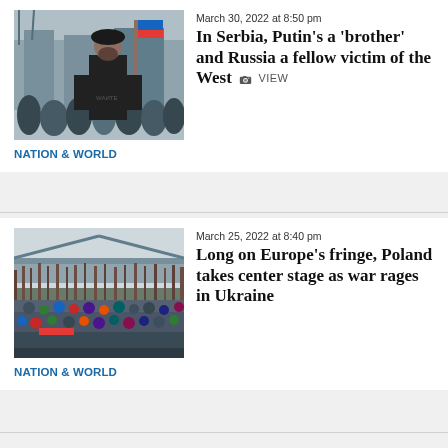[Figure (photo): People at a protest/rally carrying flags, man in foreground wearing black beret and t-shirt, urban winter setting]
March 30, 2022 at 8:50 pm
In Serbia, Putin's a 'brother' and Russia a fellow victim of the West
NATION & WORLD
[Figure (photo): Large crowd gathered outdoors near a stadium with bare winter trees in background, aerial/elevated view]
March 25, 2022 at 8:40 pm
Long on Europe's fringe, Poland takes center stage as war rages in Ukraine
NATION & WORLD